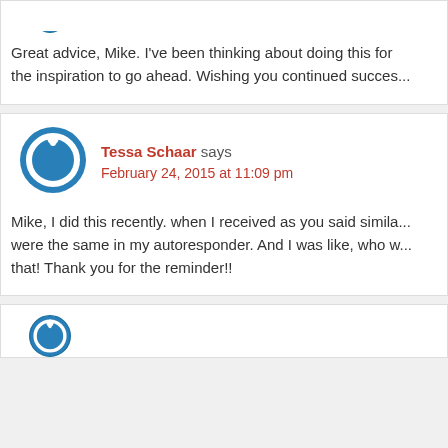[Figure (illustration): Blue circular power/user avatar icon, partially cropped at top]
Great advice, Mike. I've been thinking about doing this for the inspiration to go ahead. Wishing you continued succes...
[Figure (illustration): Blue circular power/user avatar icon for Tessa Schaar]
Tessa Schaar says February 24, 2015 at 11:09 pm
Mike, I did this recently. when I received as you said simila... were the same in my autoresponder. And I was like, who w... that! Thank you for the reminder!!
[Figure (illustration): Blue circular power/user avatar icon, partially cropped at bottom]